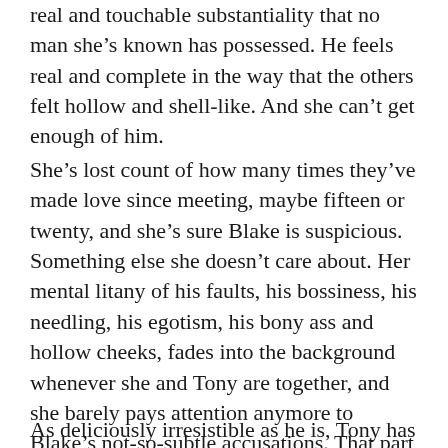real and touchable substantiality that no man she's known has possessed. He feels real and complete in the way that the others felt hollow and shell-like. And she can't get enough of him.
She's lost count of how many times they've made love since meeting, maybe fifteen or twenty, and she's sure Blake is suspicious. Something else she doesn't care about. Her mental litany of his faults, his bossiness, his needling, his egotism, his bony ass and hollow cheeks, fades into the background whenever she and Tony are together, and she barely pays attention anymore to Blake's not-so-subtle accusations. That part of her life is coming to an end, and she's one unprovoked criticism away from chucking it out for good.
As deliciously irresistible as he is, Tony has another